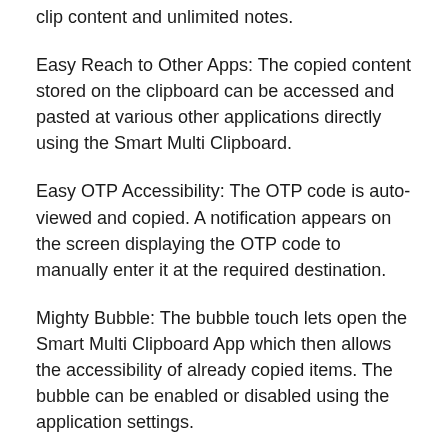clip content and unlimited notes.
Easy Reach to Other Apps: The copied content stored on the clipboard can be accessed and pasted at various other applications directly using the Smart Multi Clipboard.
Easy OTP Accessibility: The OTP code is auto-viewed and copied. A notification appears on the screen displaying the OTP code to manually enter it at the required destination.
Mighty Bubble: The bubble touch lets open the Smart Multi Clipboard App which then allows the accessibility of already copied items. The bubble can be enabled or disabled using the application settings.
* Automatic backup: You dont need to backup your data every time, SMC does it
* Instant and easy access: Access your notes and